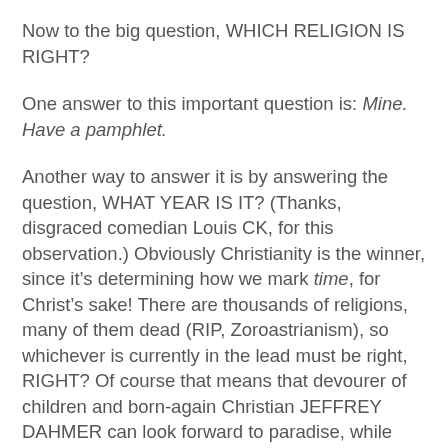Now to the big question, WHICH RELIGION IS RIGHT?
One answer to this important question is: Mine. Have a pamphlet.
Another way to answer it is by answering the question, WHAT YEAR IS IT? (Thanks, disgraced comedian Louis CK, for this observation.) Obviously Christianity is the winner, since it’s determining how we mark time, for Christ’s sake! There are thousands of religions, many of them dead (RIP, Zoroastrianism), so whichever is currently in the lead must be right, RIGHT? Of course that means that devourer of children and born-again Christian JEFFREY DAHMER can look forward to paradise, while Hindu heathen GHANDI burns in hell for all time, but hey, 2.5